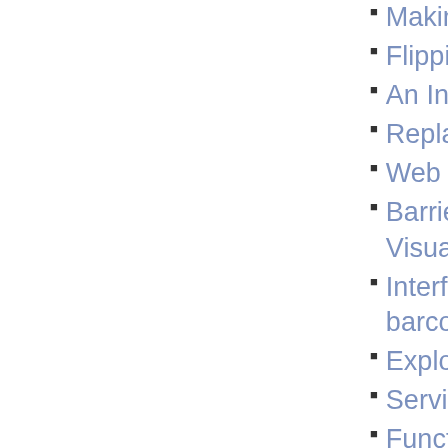Making QR Co...
Flipping before...
An Introduction...
Replacing Fou...
Web Security i...
Barriers: Overc... Visual Studio ...
Interfaces Othe... barcode
Exploring Alter...
Service Provid...
Functions of th... and MSTP con...
distribution fun...
TRUSTS AND ... QR-Code
Part III Runnin...
Scale Invarian...
COMPUTER-B... Creation QR C...
Functioning of...
if |(xij (t) xj (t))/... Code
FIGURE 6-11 (... QR-Code